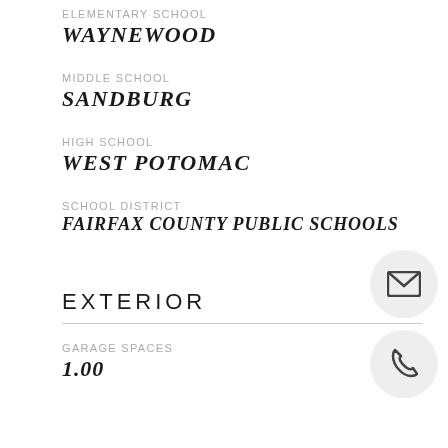ELEMENTARY SCHOOL
WAYNEWOOD
MIDDLE SCHOOL
SANDBURG
HIGH SCHOOL
WEST POTOMAC
SCHOOL DISTRICT
FAIRFAX COUNTY PUBLIC SCHOOLS
[Figure (illustration): Envelope icon in a light gray circle]
EXTERIOR
[Figure (illustration): Phone icon in a light gray circle]
GARAGE SPACES
1.00